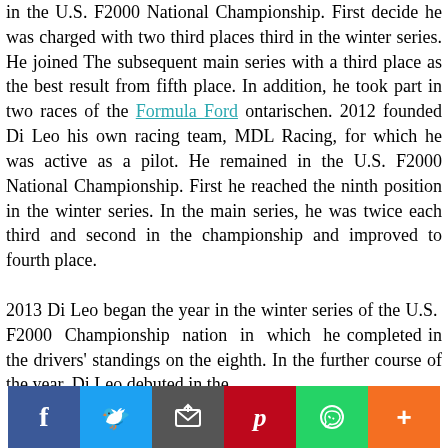in the U.S. F2000 National Championship. First decide he was charged with two third places third in the winter series. He joined The subsequent main series with a third place as the best result from fifth place. In addition, he took part in two races of the Formula Ford ontarischen. 2012 founded Di Leo his own racing team, MDL Racing, for which he was active as a pilot. He remained in the U.S. F2000 National Championship. First he reached the ninth position in the winter series. In the main series, he was twice each third and second in the championship and improved to fourth place.

2013 Di Leo began the year in the winter series of the U.S. F2000 Championship nation in which he completed in the drivers' standings on the eighth. In the further course of the year, Di Leo debuted in the
[Figure (infographic): Social sharing bar with icons for Facebook (blue), Twitter (light blue), email/share (dark gray), Pinterest (red), WhatsApp (green), and a More button (orange).]